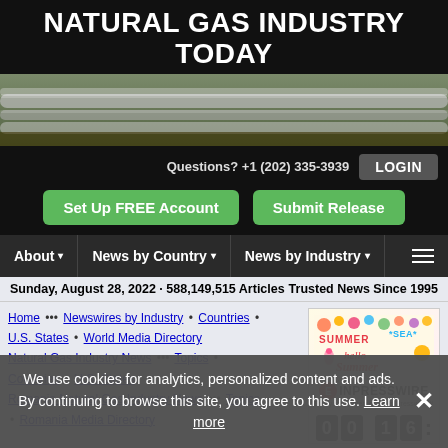NATURAL GAS INDUSTRY TODAY
[Figure (photo): Banner photo of industrial natural gas pipelines in an outdoor setting]
Questions? +1 (202) 335-3939
LOGIN
Set Up FREE Account
Submit Release
About ▾  News by Country ▾  News by Industry ▾  ≡
Sunday, August 28, 2022 · 588,149,515 Articles      Trusted News Since 1995
Home ••• Newswires by Industry • Countries • U.S. States • World Media Directory Natural Gas Industry News ••• Topics • Countries • U.S. States Romania Natural Gas Industry News ••• Topics • Romania Media Directory
[Figure (illustration): EINPresswire advertisement with summer theme showing colorful summer icons, hello summer text, EINPresswire logo, and countdown digits 0 0 1 6 :]
ROMANIA NATURAL
We use cookies for analytics, personalized content and ads. By continuing to browse this site, you agree to this use. Learn more